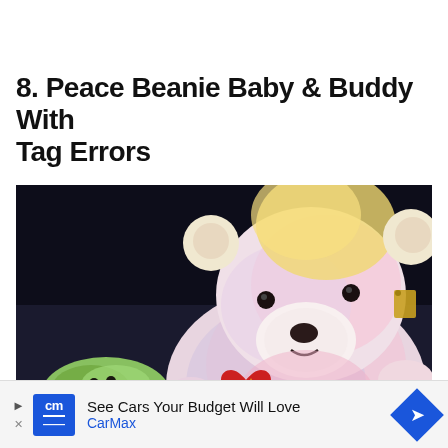8. Peace Beanie Baby & Buddy With Tag Errors
[Figure (photo): A tie-dye colored Beanie Baby bear (Peace bear) with pastel pink, yellow, and white coloring, photographed against a dark background. A smaller green and orange Beanie Baby is visible at lower left. A red heart-shaped Ty tag with a gold star is visible in the lower center.]
See Cars Your Budget Will Love CarMax